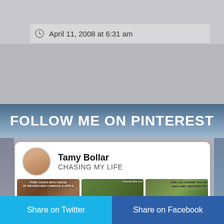April 11, 2008 at 6:31 am
FOLLOW ME ON PINTEREST
[Figure (screenshot): Pinterest widget showing Tamy Bollar / CHASING MY LIFE profile with three food photos: a pork dish with braised red cabbage and apple, a snow pea salad, and a grilled shrimp salad with lime vinaigrette.]
Share on Twitter
Share on Facebook